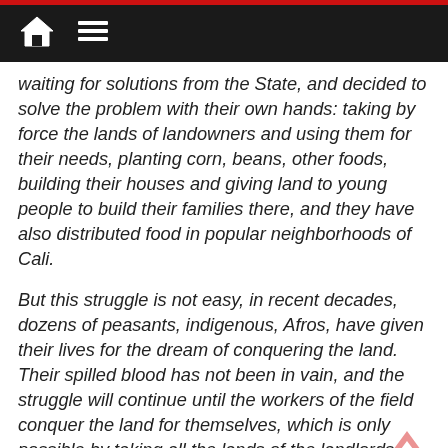waiting for solutions from the State, and decided to solve the problem with their own hands: taking by force the lands of landowners and using them for their needs, planting corn, beans, other foods, building their houses and giving land to young people to build their families there, and they have also distributed food in popular neighborhoods of Cali.
But this struggle is not easy, in recent decades, dozens of peasants, indigenous, Afros, have given their lives for the dream of conquering the land. Their spilled blood has not been in vain, and the struggle will continue until the workers of the field conquer the land for themselves, which is only possible by taking all the lands of the landlords.